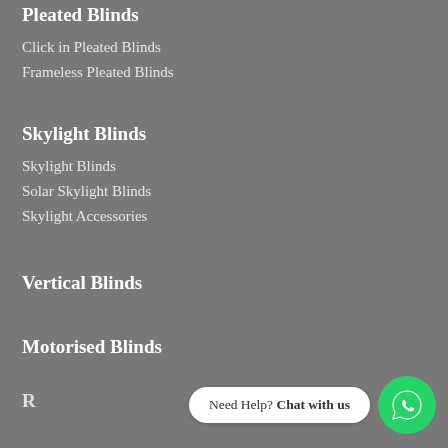Pleated Blinds
Click in Pleated Blinds
Frameless Pleated Blinds
Skylight Blinds
Skylight Blinds
Solar Skylight Blinds
Skylight Accessories
Vertical Blinds
Motorised Blinds
Roman Blinds
Need Help? Chat with us